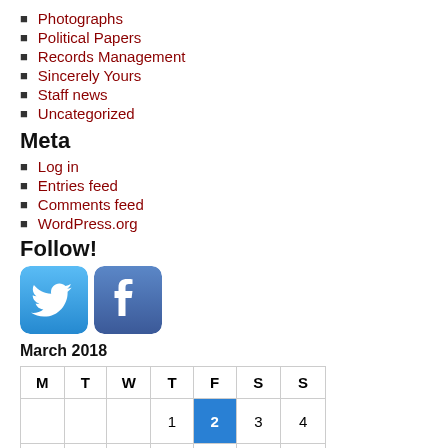Photographs
Political Papers
Records Management
Sincerely Yours
Staff news
Uncategorized
Meta
Log in
Entries feed
Comments feed
WordPress.org
Follow!
[Figure (other): Twitter and Facebook social media icons side by side]
March 2018
| M | T | W | T | F | S | S |
| --- | --- | --- | --- | --- | --- | --- |
|  |  |  | 1 | 2 | 3 | 4 |
| 5 | 6 | 7 | 8 | 9 | 10 | 11 |